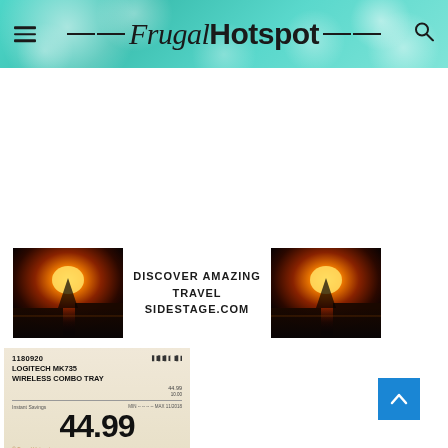Frugal Hotspot
[Figure (infographic): Travel advertisement banner with two sunset/coastal images on left and right, center text reading DISCOVER AMAZING TRAVEL SIDESTAGE.COM]
[Figure (photo): Costco price tag for Logitech MK735 Wireless Combo Tray, item number 1180920, priced at $44.99]
[Figure (other): Blue back-to-top button with upward chevron arrow in bottom right corner]